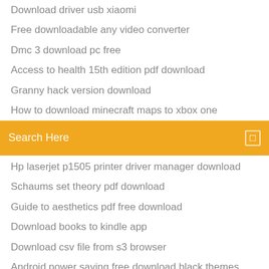Download driver usb xiaomi
Free downloadable any video converter
Dmc 3 download pc free
Access to health 15th edition pdf download
Granny hack version download
How to download minecraft maps to xbox one
[Figure (screenshot): Orange search bar with 'Search Here' placeholder text and a small square icon on the right]
Hp laserjet p1505 printer driver manager download
Schaums set theory pdf download
Guide to aesthetics pdf free download
Download books to kindle app
Download csv file from s3 browser
Android power saving free download black themes
Downsizing hdrip torrent download
Markets and the environment 2nd edition pdf download
Download wickr app on pc
Red faction pc game download
Manonrice resistive touchscreen driver download windows